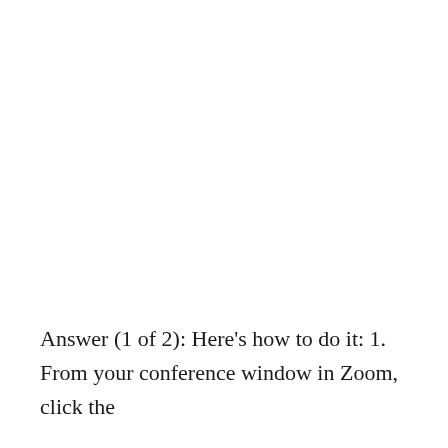Answer (1 of 2): Here's how to do it: 1. From your conference window in Zoom, click the